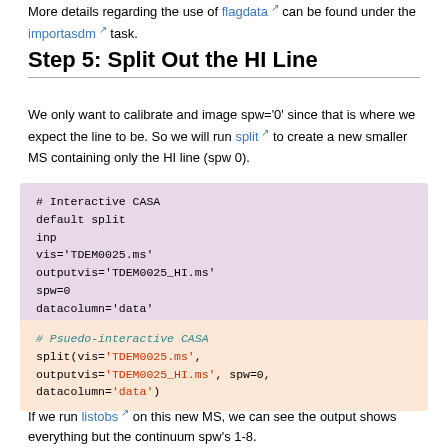More details regarding the use of flagdata can be found under the importasdm task.
Step 5: Split Out the HI Line
We only want to calibrate and image spw='0' since that is where we expect the line to be. So we will run split to create a new smaller MS containing only the HI line (spw 0).
# Interactive CASA
default split
inp
vis='TDEM0025.ms'
outputvis='TDEM0025_HI.ms'
spw=0
datacolumn='data'
inp
go
# Psuedo-interactive CASA
split(vis='TDEM0025.ms', outputvis='TDEM0025_HI.ms', spw=0, datacolumn='data')
If we run listobs on this new MS, we can see the output shows everything but the continuum spw's 1-8.